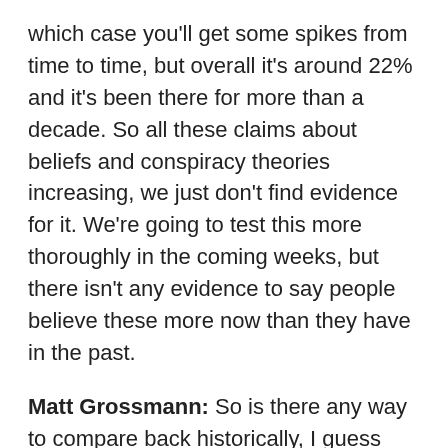which case you'll get some spikes from time to time, but overall it's around 22% and it's been there for more than a decade. So all these claims about beliefs and conspiracy theories increasing, we just don't find evidence for it. We're going to test this more thoroughly in the coming weeks, but there isn't any evidence to say people believe these more now than they have in the past.
Matt Grossmann: So is there any way to compare back historically, I guess from either historical accounts or interviews or anything? Would you expect to find that the determinants were pretty much the same, the ideation was pretty much the same, and the kinds of people who believe them were the same?